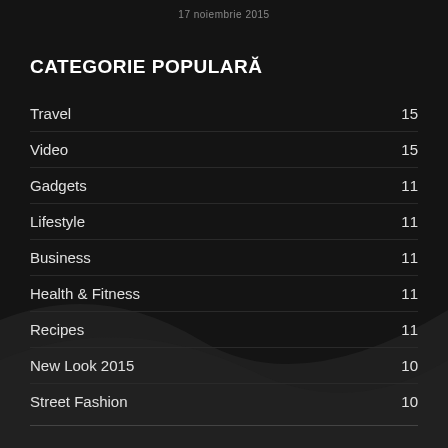17 noiembrie 2015
CATEGORIE POPULARĂ
Travel  15
Video  15
Gadgets  11
Lifestyle  11
Business  11
Health & Fitness  11
Recipes  11
New Look 2015  10
Street Fashion  10